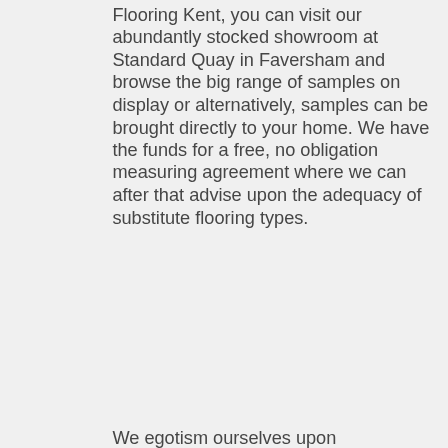Flooring Kent, you can visit our abundantly stocked showroom at Standard Quay in Faversham and browse the big range of samples on display or alternatively, samples can be brought directly to your home. We have the funds for a free, no obligation measuring agreement where we can after that advise upon the adequacy of substitute flooring types.
We egotism ourselves upon